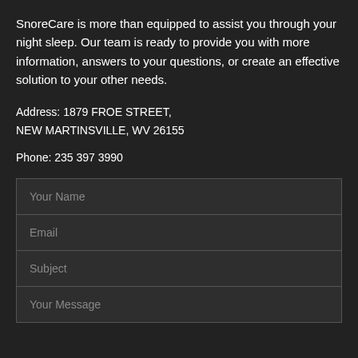SnoreCare is more than equipped to assist you through your night sleep. Our team is ready to provide you with more information, answers to your questions, or create an effective solution to your other needs.
Address: 1879 FROE STREET, NEW MARTINSVILLE, WV 26155
Phone: 235 397 3990
[Figure (other): Contact form with four input fields: Your Name, Email, Subject, Your Message]